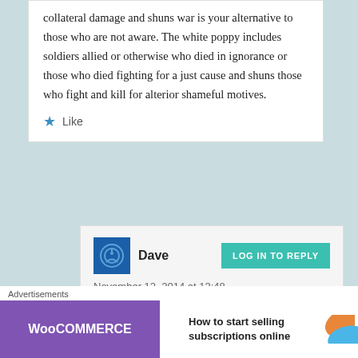collateral damage and shuns war is your alternative to those who are not aware. The white poppy includes soldiers allied or otherwise who died in ignorance or those who died fighting for a just cause and shuns those who fight and kill for alterior shameful motives.
Like
Dave
November 12, 2014 at 13:48
Advertisements
[Figure (screenshot): WooCommerce advertisement banner: purple left section with WooCommerce logo, green arrow, text 'How to start selling subscriptions online', orange and blue decorative shapes on right]